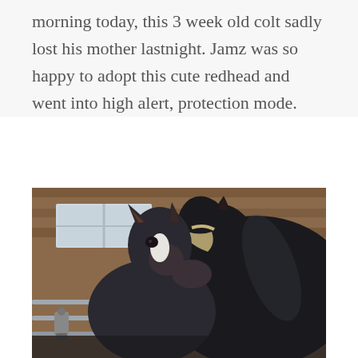morning today, this 3 week old colt sadly lost his mother lastnight. Jamz was so happy to adopt this cute redhead and went into high alert, protection mode.
[Figure (photo): Close-up photo of two horses in a stable — a small dark foal with a white blaze on its forehead nuzzling against a larger dark horse wearing a halter, with wooden stable walls and metal gate in the background.]